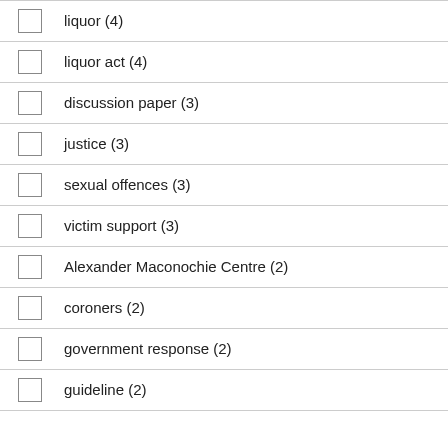liquor (4)
liquor act (4)
discussion paper (3)
justice (3)
sexual offences (3)
victim support (3)
Alexander Maconochie Centre (2)
coroners (2)
government response (2)
guideline (2)